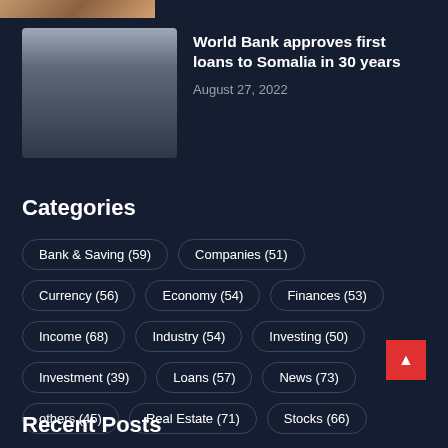[Figure (photo): Partial top edge of a photo showing hands with money/documents]
[Figure (photo): Thumbnail of person handling cash/documents on a desk]
World Bank approves first loans to Somalia in 30 years
August 27, 2022
Categories
Bank & Saving (59)
Companies (51)
Currency (56)
Economy (54)
Finances (53)
Income (68)
Industry (54)
Investing (50)
Investment (39)
Loans (57)
News (73)
others (45)
Real Estate (71)
Stocks (66)
Recent Posts